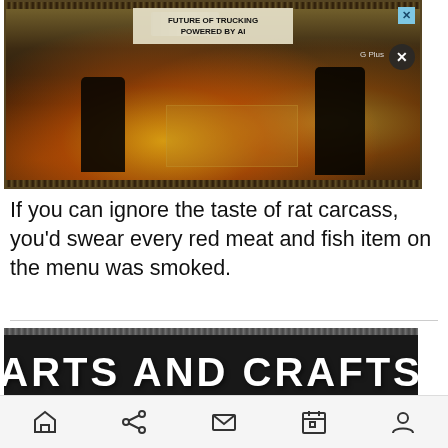[Figure (photo): Dark moody photo of people near fire/flames in an outdoor setting, with an advertisement overlay showing 'FUTURE OF TRUCKING POWERED BY AI' with a truck image and close buttons]
If you can ignore the taste of rat carcass, you'd swear every red meat and fish item on the menu was smoked.
[Figure (photo): Dark banner image with white bold text reading 'ARTS AND CRAFTS' on a distressed black background with decorative borders]
Navigation bar with home, share, mail, calendar, and profile icons